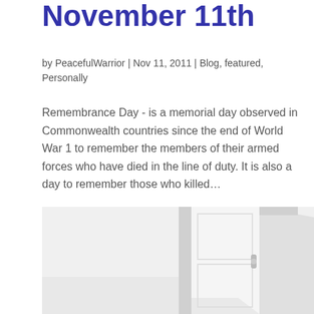November 11th
by PeacefulWarrior | Nov 11, 2011 | Blog, featured, Personally
Remembrance Day - is a memorial day observed in Commonwealth countries since the end of World War 1 to remember the members of their armed forces who have died in the line of duty. It is also a day to remember those who killed…
[Figure (photo): An open white door revealing a blue sky with clouds, viewed from inside a white room.]